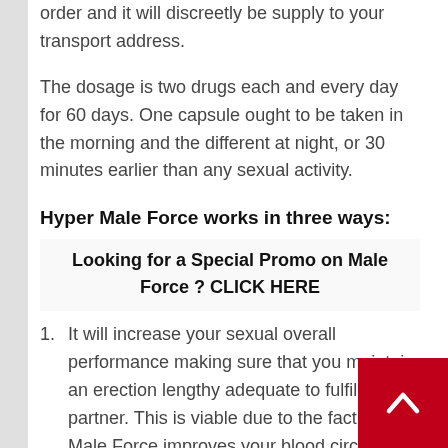order and it will discreetly be supply to your transport address.
The dosage is two drugs each and every day for 60 days. One capsule ought to be taken in the morning and the different at night, or 30 minutes earlier than any sexual activity.
Hyper Male Force works in three ways:
Looking for a Special Promo on Male Force ? CLICK HERE
It will increase your sexual overall performance making sure that you maintain an erection lengthy adequate to fulfill your partner. This is viable due to the fact Hyper Male Force improves your blood circulation.